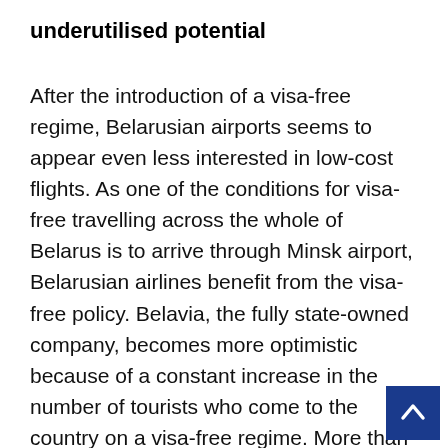underutilised potential
After the introduction of a visa-free regime, Belarusian airports seems to appear even less interested in low-cost flights. As one of the conditions for visa-free travelling across the whole of Belarus is to arrive through Minsk airport, Belarusian airlines benefit from the visa-free policy. Belavia, the fully state-owned company, becomes more optimistic because of a constant increase in the number of tourists who come to the country on a visa-free regime. More than 80,000 foreigners visited Belarus in 2017 under the visa regime which allows visitors to spend five days in Belarus without a visa provided they enter via Minsk airport.